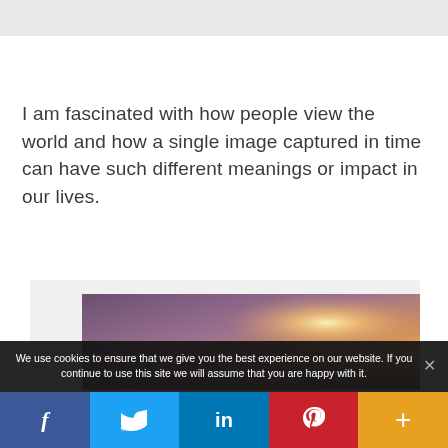[Figure (other): Top gray banner/header bar]
I am fascinated with how people view the world and how a single image captured in time can have such different meanings or impact in our lives.
[Figure (photo): A sunset or sky photo with warm orange and purple tones, partially visible]
We use cookies to ensure that we give you the best experience on our website. If you continue to use this site we will assume that you are happy with it.
[Figure (other): Social sharing bar with Facebook, Twitter, LinkedIn, Pinterest, and More (+) buttons]